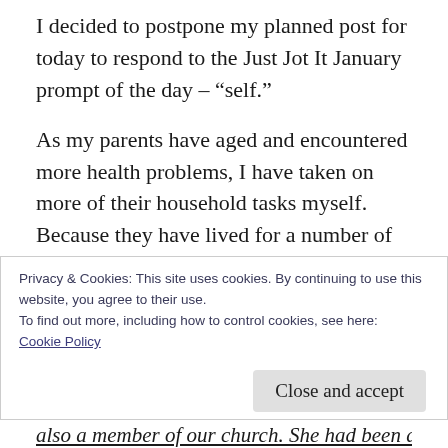I decided to postpone my planned post for today to respond to the Just Jot It January prompt of the day – “self.”
As my parents have aged and encountered more health problems, I have taken on more of their household tasks myself. Because they have lived for a number of years in a continuing care senior community, some of the cleaning and cooking is taken care of, but I have been helping with laundry, shopping, banking, etc.
Privacy & Cookies: This site uses cookies. By continuing to use this website, you agree to their use.
To find out more, including how to control cookies, see here:
Cookie Policy
Close and accept
also a member of our church. She had been able